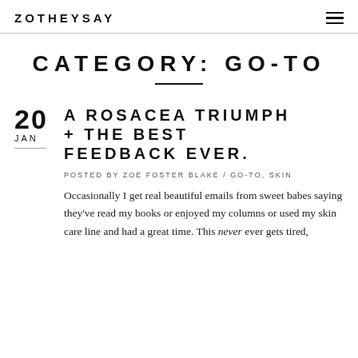ZOTHEYSAY
CATEGORY: GO-TO
A ROSACEA TRIUMPH + THE BEST FEEDBACK EVER.
POSTED BY ZOE FOSTER BLAKE / GO-TO, SKIN
Occasionally I get real beautiful emails from sweet babes saying they've read my books or enjoyed my columns or used my skin care line and had a great time. This never ever gets tired,